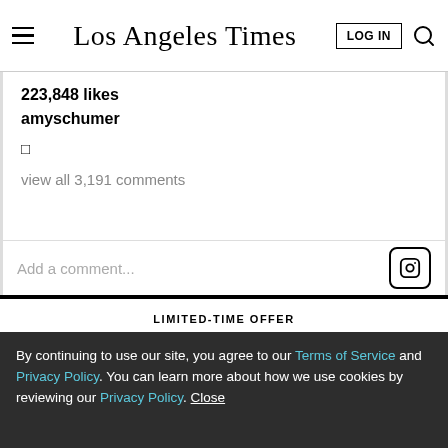Los Angeles Times
223,848 likes
amyschumer
□
view all 3,191 comments
Add a comment...
LIMITED-TIME OFFER
$1 for 6 Months
SUBSCRIBE NOW
By continuing to use our site, you agree to our Terms of Service and Privacy Policy. You can learn more about how we use cookies by reviewing our Privacy Policy. Close